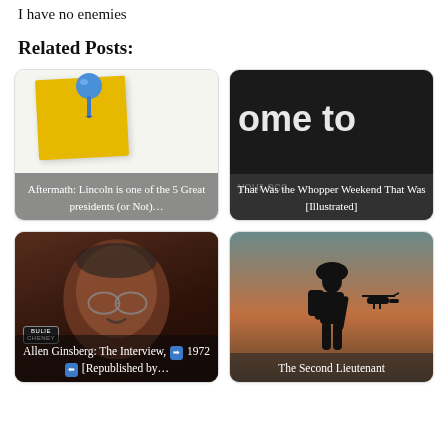I have no enemies
Related Posts:
[Figure (illustration): Card with sticky note and thumbtack icon. Caption overlay reads: Aftermath: Lincoln is one of the 5 Great presidents (or Not)…]
[Figure (photo): Dark sign background with large text 'ome to' and 'your acc'. Caption overlay reads: That Was the Whopper Weekend That Was [Illustrated]]
[Figure (photo): Photo of Allen Ginsberg (elderly man with glasses). Caption overlay reads: Allen Ginsberg: The Interview, ➡ 1972 ⬅ [Republished by…]]
[Figure (photo): Silhouette of soldier with rifle against sunset sky with helicopter. Caption overlay reads: The Second Lieutenant]